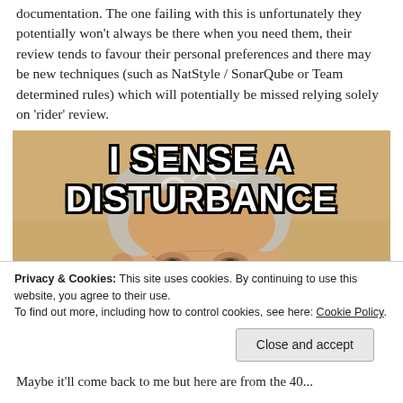documentation. The one failing with this is unfortunately they potentially won't always be there when you need them, their review tends to favour their personal preferences and there may be new techniques (such as NatStyle / SonarQube or Team determined rules) which will potentially be missed relying solely on 'rider' review.
[Figure (photo): Internet meme image of an elderly man (resembling Obi-Wan Kenobi) with bold white Impact-font text overlay reading 'I SENSE A DISTURBANCE']
Privacy & Cookies: This site uses cookies. By continuing to use this website, you agree to their use.
To find out more, including how to control cookies, see here: Cookie Policy
Maybe it'll come back to me but here are from the 40...